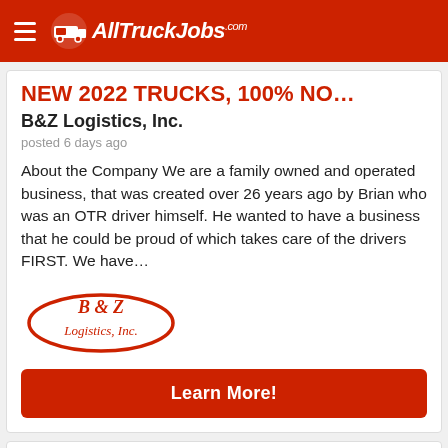AllTruckJobs.com
NEW 2022 TRUCKS, 100% NO…
B&Z Logistics, Inc.
posted 6 days ago
About the Company We are a family owned and operated business, that was created over 26 years ago by Brian who was an OTR driver himself. He wanted to have a business that he could be proud of which takes care of the drivers FIRST. We have…
[Figure (logo): B&Z Logistics, Inc. red oval logo with cursive text]
Learn More!
Georgia
OTR CDL A Drivers in Georgia…